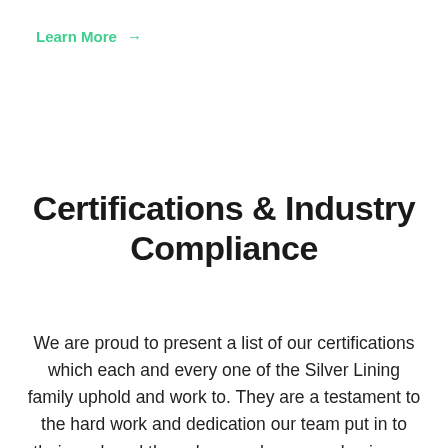Learn More →
Certifications & Industry Compliance
We are proud to present a list of our certifications which each and every one of the Silver Lining family uphold and work to. They are a testament to the hard work and dedication our team put in to their work and the values we have as a business.